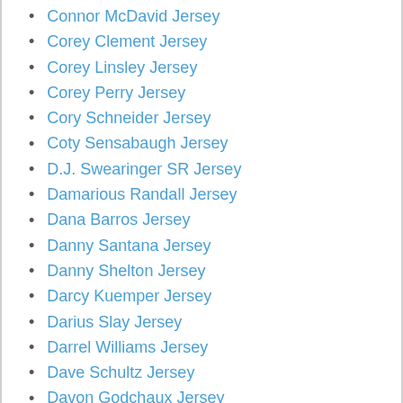Connor McDavid Jersey
Corey Clement Jersey
Corey Linsley Jersey
Corey Perry Jersey
Cory Schneider Jersey
Coty Sensabaugh Jersey
D.J. Swearinger SR Jersey
Damarious Randall Jersey
Dana Barros Jersey
Danny Santana Jersey
Danny Shelton Jersey
Darcy Kuemper Jersey
Darius Slay Jersey
Darrel Williams Jersey
Dave Schultz Jersey
Davon Godchaux Jersey
Dawson Knox Jersey
Deandre Baker Jersey
DeAndre Yedlin Jersey
Dede Westbrook Jersey